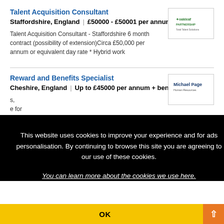Talent Acquisition Consultant
Staffordshire, England | £50000 - £50001 per annum
Talent Acquisition Consultant - Staffordshire 6 month contract (possibility of extension)Circa £50,000 per annum or equivalent day rate * Hybrid work
[Figure (logo): Oakleaf Partnership logo with green leaf icon]
Reward and Benefits Specialist
Cheshire, England | Up to £45000 per annum + benefits
[Figure (logo): Michael Page Human Resources logo]
This website uses cookies to improve your experience and for ads personalisation. By continuing to browse this site you are agreeing to our use of these cookies.
You can learn more about the cookies we use here.
OK